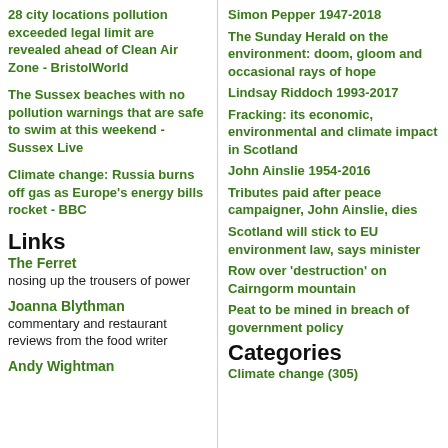28 city locations pollution exceeded legal limit are revealed ahead of Clean Air Zone - BristolWorld
The Sussex beaches with no pollution warnings that are safe to swim at this weekend - Sussex Live
Climate change: Russia burns off gas as Europe's energy bills rocket - BBC
Links
The Ferret
nosing up the trousers of power
Joanna Blythman
commentary and restaurant reviews from the food writer
Andy Wightman
Simon Pepper 1947-2018
The Sunday Herald on the environment: doom, gloom and occasional rays of hope
Lindsay Riddoch 1993-2017
Fracking: its economic, environmental and climate impact in Scotland
John Ainslie 1954-2016
Tributes paid after peace campaigner, John Ainslie, dies
Scotland will stick to EU environment law, says minister
Row over 'destruction' on Cairngorm mountain
Peat to be mined in breach of government policy
Categories
Climate change (305)